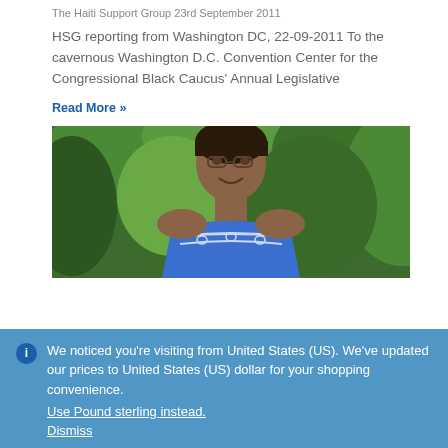The Haiti Support Group 23rd September 2011
HSG reporting from Washington DC, 22-09-2011 To the cavernous Washington D.C. Convention Center for the Congressional Black Caucus' Annual Legislative
Read More »
[Figure (photo): Photo of an older woman wearing a blue embroidered top, smiling, with green tropical foliage in the background]
We noticed you're visiting from United States (US). We've updated our prices to United States (US) dollar for your shopping convenience.
Use Pound sterling instead.
Dismiss